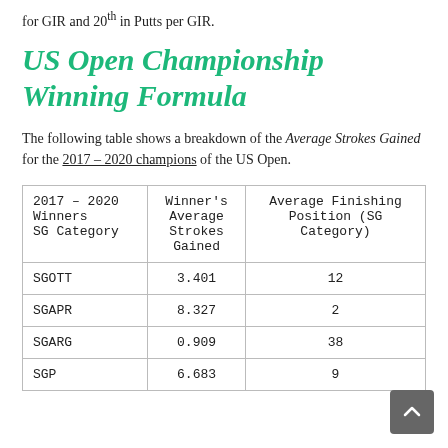for GIR and 20th in Putts per GIR.
US Open Championship Winning Formula
The following table shows a breakdown of the Average Strokes Gained for the 2017 – 2020 champions of the US Open.
| 2017 – 2020 Winners SG Category | Winner's Average Strokes Gained | Average Finishing Position (SG Category) |
| --- | --- | --- |
| SGOTT | 3.401 | 12 |
| SGAPR | 8.327 | 2 |
| SGARG | 0.909 | 38 |
| SGP | 6.683 | 9 |